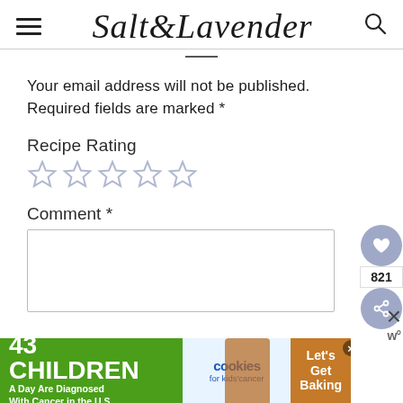Salt & Lavender
Your email address will not be published. Required fields are marked *
Recipe Rating
[Figure (other): Five empty/unfilled star rating icons]
Comment *
[Figure (other): Comment text area input box]
[Figure (other): Advertisement banner: 43 CHILDREN A Day Are Diagnosed With Cancer in the U.S. - cookies for kids cancer - Let's Get Baking]